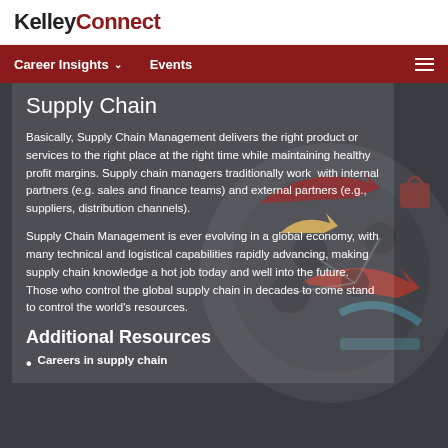Kelley Connect
Career Insights  Events
Supply Chain
Basically, Supply Chain Management delivers the right product or services to the right place at the right time while maintaining healthy profit margins. Supply chain managers traditionally work with internal partners (e.g. sales and finance teams) and external partners (e.g., suppliers, distribution channels).
Supply Chain Management is ever evolving in a global economy, with many technical and logistical capabilities rapidly advancing, making supply chain knowledge a hot job today and well into the future. Those who control the global supply chain in decades to come stand to control the world's resources.
Additional Resources
Careers in supply chain